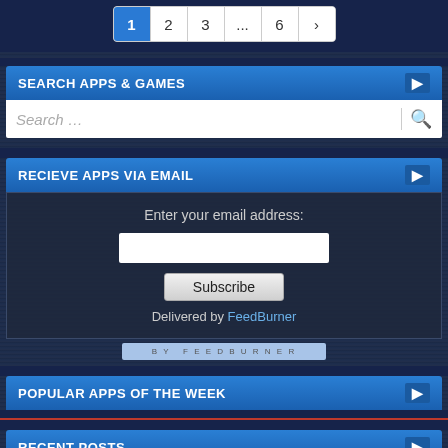[Figure (screenshot): Pagination bar with items 1 (active/blue), 2, 3, ..., 6, >]
SEARCH APPS & GAMES
Search ...
RECIEVE APPS VIA EMAIL
Enter your email address:
Subscribe
Delivered by FeedBurner
POPULAR APPS OF THE WEEK
RECENT POSTS
Hitman Sniper: The Shadows v0.10 Mod Apk